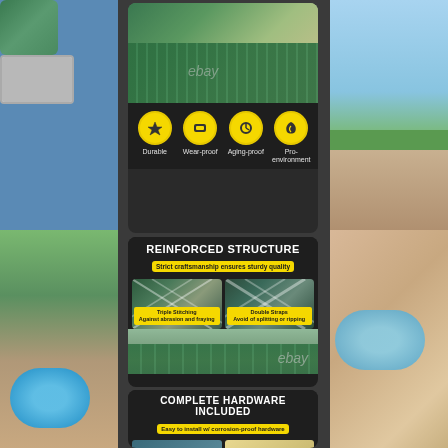[Figure (photo): eBay product listing page showing a pool safety cover with feature icons (Durable, Wear-proof, Aging-proof, Pro-environment) and two detailed product images showing reinforced structure with triple stitching and double straps, plus complete hardware included section. Left and right sidebars show outdoor pool scenes.]
Durable
Wear-proof
Aging-proof
Pro-environment
REINFORCED STRUCTURE
Strict craftsmanship ensures sturdy quality
Triple Stitching
Against abrasion and fraying
Double Straps
Avoid of splitting or ripping
COMPLETE HARDWARE INCLUDED
Easy to install w/ corrosion-proof hardware